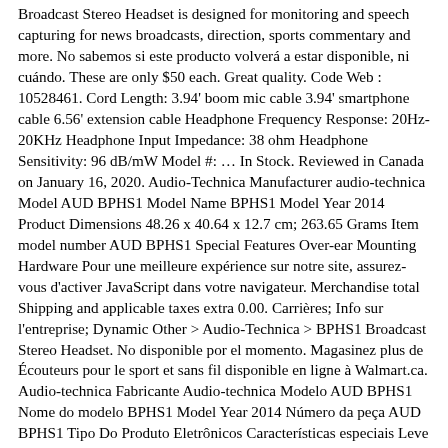Broadcast Stereo Headset is designed for monitoring and speech capturing for news broadcasts, direction, sports commentary and more. No sabemos si este producto volverá a estar disponible, ni cuándo. These are only $50 each. Great quality. Code Web : 10528461. Cord Length: 3.94' boom mic cable 3.94' smartphone cable 6.56' extension cable Headphone Frequency Response: 20Hz-20KHz Headphone Input Impedance: 38 ohm Headphone Sensitivity: 96 dB/mW Model #: … In Stock. Reviewed in Canada on January 16, 2020. Audio-Technica Manufacturer audio-technica Model AUD BPHS1 Model Name BPHS1 Model Year 2014 Product Dimensions 48.26 x 40.64 x 12.7 cm; 263.65 Grams Item model number AUD BPHS1 Special Features Over-ear Mounting Hardware Pour une meilleure expérience sur notre site, assurez-vous d'activer JavaScript dans votre navigateur. Merchandise total Shipping and applicable taxes extra 0.00. Carrières; Info sur l'entreprise; Dynamic Other > Audio-Technica > BPHS1 Broadcast Stereo Headset. No disponible por el momento. Magasinez plus de Écouteurs pour le sport et sans fil disponible en ligne à Walmart.ca. Audio-technica Fabricante Audio-technica Modelo AUD BPHS1 Nome do modelo BPHS1 Model Year 2014 Número da peça AUD BPHS1 Tipo Do Produto Eletrônicos Características especiais Leve Número de unidades 1 Tecnologia da tela Block after Info Column Responsividade do som 100 dB Formato do microfone Boom Headphones Form Factor Sobre a orelha Audio Technica BPHS1 Broadcast Stereo Headset BPHS1 Audio Equipment Microphones Wired Field Microphones Lavalier